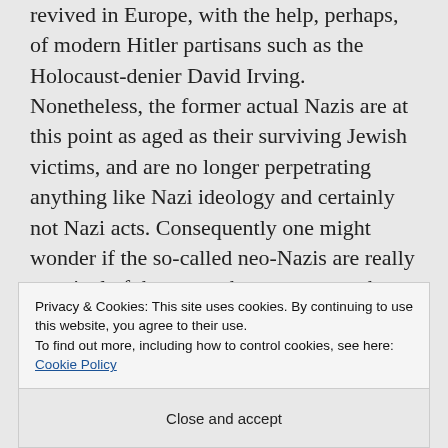revived in Europe, with the help, perhaps, of modern Hitler partisans such as the Holocaust-denier David Irving. Nonetheless, the former actual Nazis are at this point as aged as their surviving Jewish victims, and are no longer perpetrating anything like Nazi ideology and certainly not Nazi acts. Consequently one might wonder if the so-called neo-Nazis are really a revival of the same phenomenon as the
Privacy & Cookies: This site uses cookies. By continuing to use this website, you agree to their use. To find out more, including how to control cookies, see here: Cookie Policy
Close and accept
original Nazis.